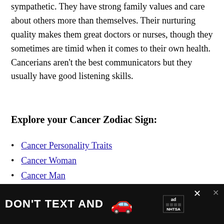sympathetic. They have strong family values and care about others more than themselves. Their nurturing quality makes them great doctors or nurses, though they sometimes are timid when it comes to their own health. Cancerians aren't the best communicators but they usually have good listening skills.
Explore your Cancer Zodiac Sign:
Cancer Personality Traits
Cancer Woman
Cancer Man
Cancer Moon Sign
Cancer Rising Sign
[Figure (other): Advertisement banner: DON'T TEXT AND [car emoji] with NHTSA branding and close button]